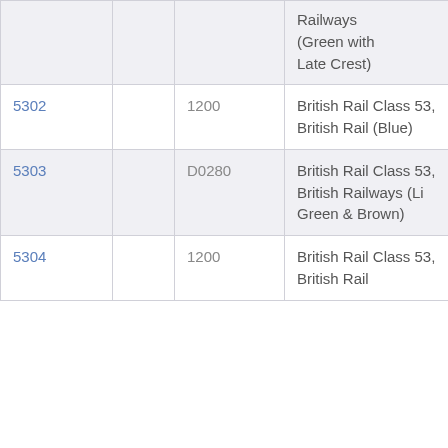| ID |  | Code | Description |
| --- | --- | --- | --- |
|  |  |  | Railways (Green with Late Crest) |
| 5302 |  | 1200 | British Rail Class 53, British Rail (Blue) |
| 5303 |  | D0280 | British Rail Class 53, British Railways (Li Green & Brown) |
| 5304 |  | 1200 | British Rail Class 53, British Rail |